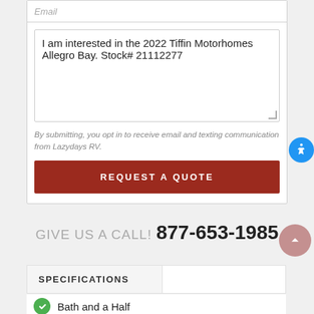I am interested in the 2022 Tiffin Motorhomes Allegro Bay. Stock# 21112277
By submitting, you opt in to receive email and texting communication from Lazydays RV.
REQUEST A QUOTE
GIVE US A CALL! 877-653-1985
SPECIFICATIONS
Bath and a Half
Bunk Over Cab